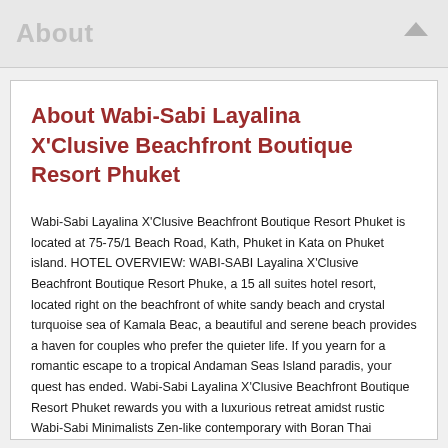About
About Wabi-Sabi Layalina X'Clusive Beachfront Boutique Resort Phuket
Wabi-Sabi Layalina X'Clusive Beachfront Boutique Resort Phuket is located at 75-75/1 Beach Road, Kath, Phuket in Kata on Phuket island. HOTEL OVERVIEW: WABI-SABI Layalina X'Clusive Beachfront Boutique Resort Phuke, a 15 all suites hotel resort, located right on the beachfront of white sandy beach and crystal turquoise sea of Kamala Beac, a beautiful and serene beach provides a haven for couples who prefer the quieter life. If you yearn for a romantic escape to a tropical Andaman Seas Island paradis, your quest has ended. Wabi-Sabi Layalina X'Clusive Beachfront Boutique Resort Phuket rewards you with a luxurious retreat amidst rustic Wabi-Sabi Minimalists Zen-like contemporary with Boran Thai architectural elegance. The resort position itself as a Couple Adults ONLY Hotel above 18 years old. At Wabi Sabi Layalina X'Clusive Beachfront Boutique Resort Phuke, we practice the philosophy of natural simplicity and creative spaces that